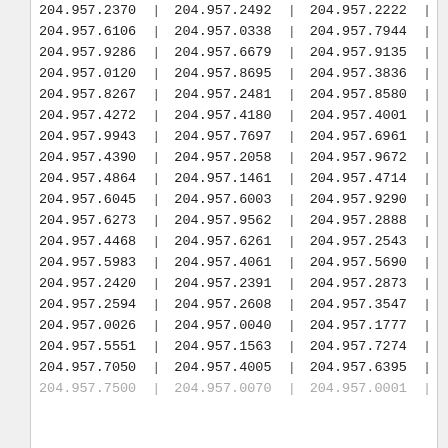| 204.957.2370 | | | 204.957.2492 | | | 204.957.2222 | | |
| 204.957.6106 | | | 204.957.0338 | | | 204.957.7944 | | |
| 204.957.9286 | | | 204.957.6679 | | | 204.957.9135 | | |
| 204.957.0120 | | | 204.957.8695 | | | 204.957.3836 | | |
| 204.957.8267 | | | 204.957.2481 | | | 204.957.8580 | | |
| 204.957.4272 | | | 204.957.4180 | | | 204.957.4001 | | |
| 204.957.9943 | | | 204.957.7697 | | | 204.957.6961 | | |
| 204.957.4390 | | | 204.957.2058 | | | 204.957.9672 | | |
| 204.957.4864 | | | 204.957.1461 | | | 204.957.4714 | | |
| 204.957.6045 | | | 204.957.6003 | | | 204.957.9290 | | |
| 204.957.6273 | | | 204.957.9562 | | | 204.957.2888 | | |
| 204.957.4468 | | | 204.957.6261 | | | 204.957.2543 | | |
| 204.957.5983 | | | 204.957.4061 | | | 204.957.5690 | | |
| 204.957.2420 | | | 204.957.2391 | | | 204.957.2873 | | |
| 204.957.2594 | | | 204.957.2608 | | | 204.957.3547 | | |
| 204.957.0026 | | | 204.957.0040 | | | 204.957.1777 | | |
| 204.957.5551 | | | 204.957.1563 | | | 204.957.7274 | | |
| 204.957.7050 | | | 204.957.4005 | | | 204.957.6395 | | |
| 204.957.7500 | | | 204.957.0070 | | | 204.957.0001 | | |